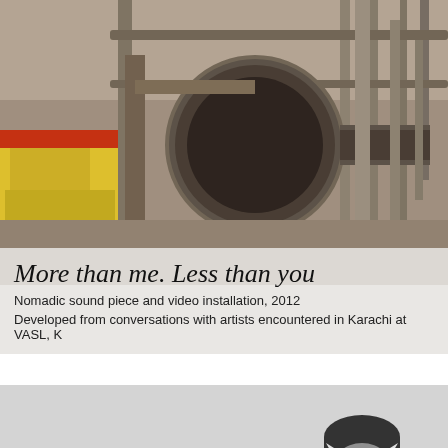[Figure (photo): Street scene photo from Karachi showing a large megaphone/loudspeaker on a metal bracket, with a yellow vehicle visible on the left and metal railings/poles in the background. Color photograph.]
More than me. Less than you
Nomadic sound piece and video installation, 2012
Developed from conversations with artists encountered in Karachi at  VASL, K
[Figure (photo): Black and white photograph of a young person wearing a white decorative mask resembling a fox or cat, seated at what appears to be a piano or keyboard, photographed from a slight angle. Light grey background.]